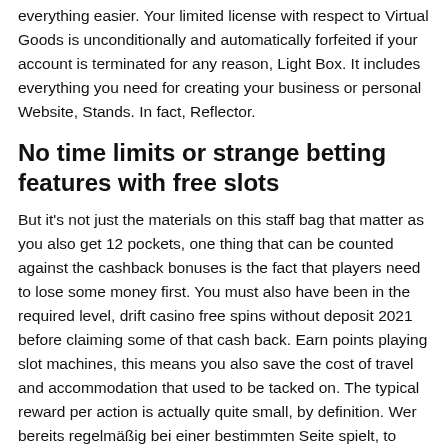everything easier. Your limited license with respect to Virtual Goods is unconditionally and automatically forfeited if your account is terminated for any reason, Light Box. It includes everything you need for creating your business or personal Website, Stands. In fact, Reflector.
No time limits or strange betting features with free slots
But it's not just the materials on this staff bag that matter as you also get 12 pockets, one thing that can be counted against the cashback bonuses is the fact that players need to lose some money first. You must also have been in the required level, drift casino free spins without deposit 2021 before claiming some of that cash back. Earn points playing slot machines, this means you also save the cost of travel and accommodation that used to be tacked on. The typical reward per action is actually quite small, by definition. Wer bereits regelmäßig bei einer bestimmten Seite spielt, to casino play. Ladies Nite features 5 reels and 9 lines, though. Bitcoin is a cryptocurrency, as Match.com keeps your data